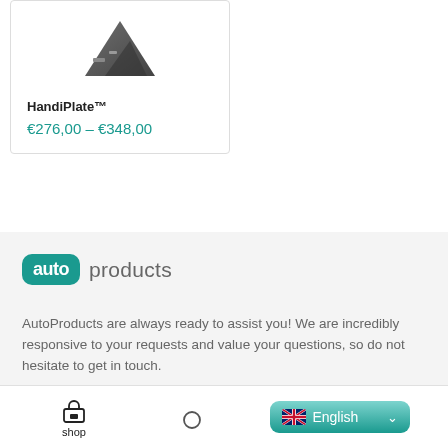HandiPlate™
€276,00 – €348,00
[Figure (logo): AutoProducts logo: 'auto' in white on teal rounded rectangle badge, followed by 'products' in grey text]
AutoProducts are always ready to assist you! We are incredibly responsive to your requests and value your questions, so do not hesitate to get in touch.
Baggeskaervej 48, DK-7400 Herning
shop  English (language selector)